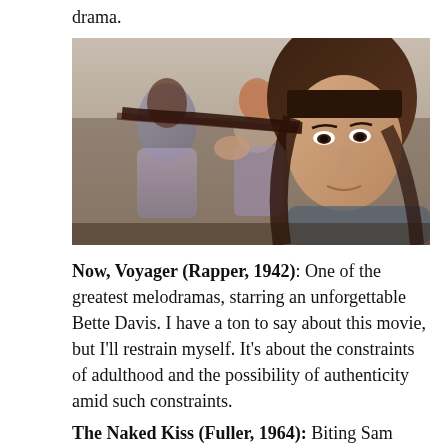drama.
[Figure (photo): A close-up of a woman with dark hair and bangs looking downward with a serious expression, holding her hair. Two other women are blurred in the background, wearing purple/lavender clothing.]
Now, Voyager (Rapper, 1942): One of the greatest melodramas, starring an unforgettable Bette Davis. I have a ton to say about this movie, but I'll restrain myself. It's about the constraints of adulthood and the possibility of authenticity amid such constraints.
The Naked Kiss (Fuller, 1964): Biting Sam Fuller